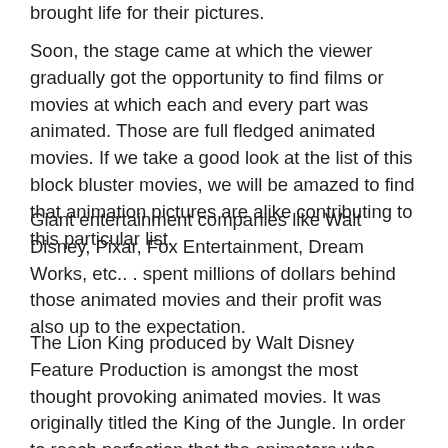brought life for their pictures.
Soon, the stage came at which the viewer gradually got the opportunity to find films or movies at which each and every part was animated. Those are full fledged animated movies. If we take a good look at the list of this block bluster movies, we will be amazed to find that animation pictures are alike contributing to this particular list.
Giant entertainment companies like Walt Disney, Pixar, Fox Entertainment, Dream Works, etc.. . spent millions of dollars behind those animated movies and their profit was also up to the expectation.
The Lion King produced by Walt Disney Feature Production is amongst the most thought provoking animated movies. It was originally titled the King of the Jungle. In order to reach perfection that the animators who worked with this picture studied those activities and